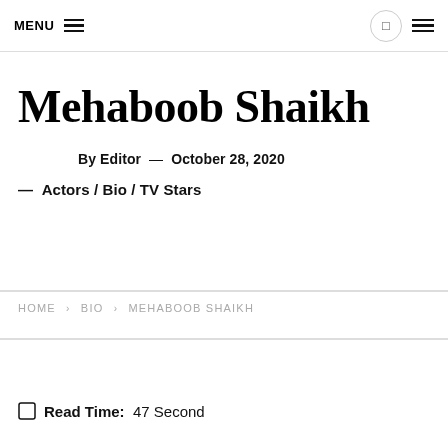MENU
Mehaboob Shaikh
By Editor — October 28, 2020
— Actors / Bio / TV Stars
HOME › BIO › MEHABOOB SHAIKH
Read Time: 47 Second